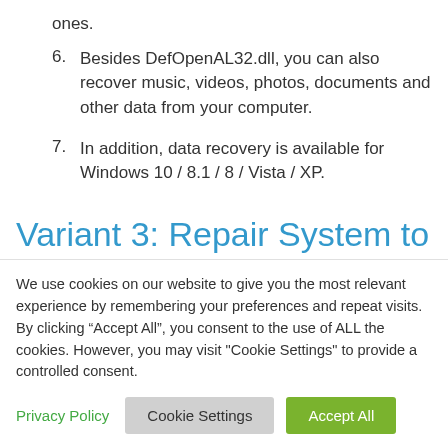ones.
6. Besides DefOpenAL32.dll, you can also recover music, videos, photos, documents and other data from your computer.
7. In addition, data recovery is available for Windows 10 / 8.1 / 8 / Vista / XP.
Variant 3: Repair System to
We use cookies on our website to give you the most relevant experience by remembering your preferences and repeat visits. By clicking “Accept All”, you consent to the use of ALL the cookies. However, you may visit "Cookie Settings" to provide a controlled consent.
Privacy Policy  Cookie Settings  Accept All